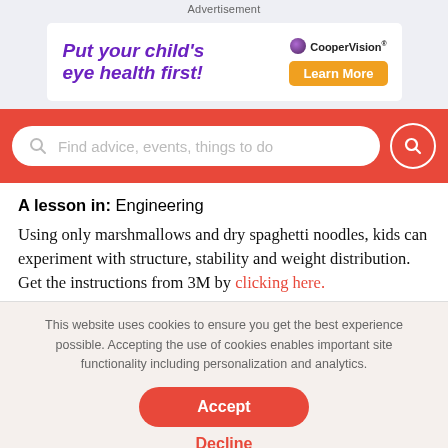Advertisement
[Figure (infographic): CooperVision advertisement banner with purple bold text 'Put your child's eye health first!' and an orange 'Learn More' button with CooperVision logo.]
[Figure (screenshot): Red search bar with placeholder text 'Find advice, events, things to do' and a red circular search button on the right.]
A lesson in: Engineering
Using only marshmallows and dry spaghetti noodles, kids can experiment with structure, stability and weight distribution. Get the instructions from 3M by clicking here.
This website uses cookies to ensure you get the best experience possible. Accepting the use of cookies enables important site functionality including personalization and analytics.
Accept
Decline